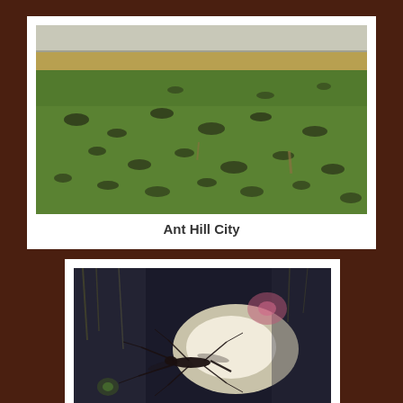[Figure (photo): Outdoor photo of a grassy field with numerous ant hills (small mounds of dark soil among green grass), with a road or bridge structure visible in the background.]
Ant Hill City
[Figure (photo): Close-up photo of a water strider (pond skater insect) on the surface of still water, silhouetted against bright reflected light, with lens flare effects visible.]